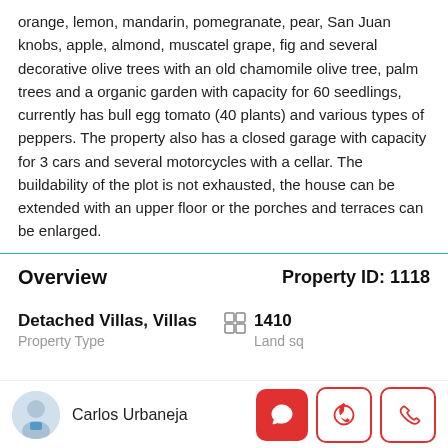orange, lemon, mandarin, pomegranate, pear, San Juan knobs, apple, almond, muscatel grape, fig and several decorative olive trees with an old chamomile olive tree, palm trees and a organic garden with capacity for 60 seedlings, currently has bull egg tomato (40 plants) and various types of peppers. The property also has a closed garage with capacity for 3 cars and several motorcycles with a cellar. The buildability of the plot is not exhausted, the house can be extended with an upper floor or the porches and terraces can be enlarged.
Overview
Property ID: 1118
Detached Villas, Villas
Property Type
1410
Land sq
Carlos Urbaneja